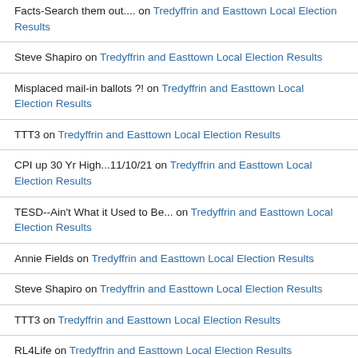Facts-Search them out.... on Tredyffrin and Easttown Local Election Results
Steve Shapiro on Tredyffrin and Easttown Local Election Results
Misplaced mail-in ballots ?! on Tredyffrin and Easttown Local Election Results
TTT3 on Tredyffrin and Easttown Local Election Results
CPI up 30 Yr High...11/10/21 on Tredyffrin and Easttown Local Election Results
TESD--Ain't What it Used to Be... on Tredyffrin and Easttown Local Election Results
Annie Fields on Tredyffrin and Easttown Local Election Results
Steve Shapiro on Tredyffrin and Easttown Local Election Results
TTT3 on Tredyffrin and Easttown Local Election Results
RL4Life on Tredyffrin and Easttown Local Election Results
I'm not the topic on Tredyffrin and Easttown Local Election Results
Joe Whip on Tredyffrin and Easttown Local Election Results
RL4Life on Tredyffrin and Easttown Local Election Results